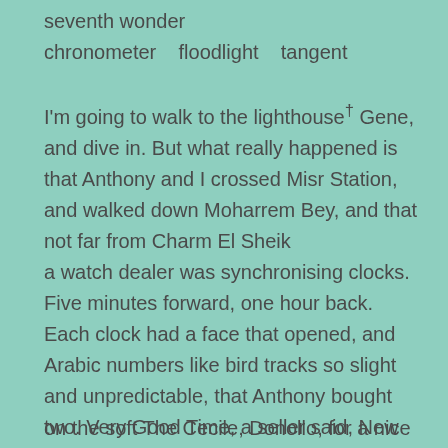seventh wonder
chronometer    floodlight    tangent
I'm going to walk to the lighthouse† Gene, and dive in. But what really happened is that Anthony and I crossed Misr Station, and walked down Moharrem Bey, and that not far from Charm El Sheik
a watch dealer was synchronising clocks. Five minutes forward, one hour back. Each clock had a face that opened, and Arabic numbers like bird tracks so slight and unpredictable, that Anthony bought two. Very Good Time, a seller said, New Time; and he held up a newspaper advertisement promising 'A touch of the classical, a dash of the futuristic'. And then, later that night, after dinner on the soft The Cecile, Donollo, for a nice